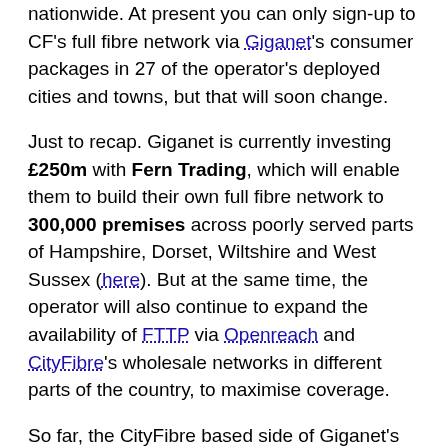nationwide. At present you can only sign-up to CF's full fibre network via Giganet's consumer packages in 27 of the operator's deployed cities and towns, but that will soon change.
Just to recap. Giganet is currently investing £250m with Fern Trading, which will enable them to build their own full fibre network to 300,000 premises across poorly served parts of Hampshire, Dorset, Wiltshire and West Sussex (here). But at the same time, the operator will also continue to expand the availability of FTTP via Openreach and CityFibre's wholesale networks in different parts of the country, to maximise coverage.
So far, the CityFibre based side of Giganet's service has already been announced for Portsmouth, Swindon, Reading, Plymouth, Crawley & Horsham, Bath,